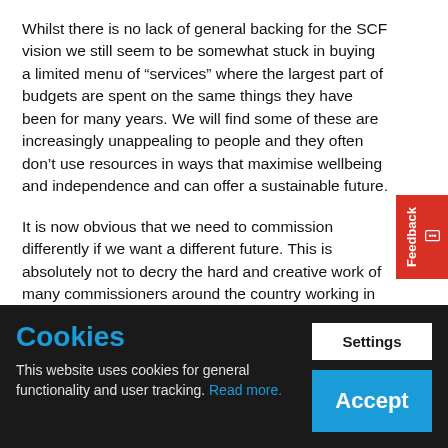Whilst there is no lack of general backing for the SCF vision we still seem to be somewhat stuck in buying a limited menu of “services” where the largest part of budgets are spent on the same things they have been for many years. We will find some of these are increasingly unappealing to people and they often don’t use resources in ways that maximise wellbeing and independence and can offer a sustainable future.
It is now obvious that we need to commission differently if we want a different future. This is absolutely not to decry the hard and creative work of many commissioners around the country working in tough financial circumstances (and more recently a global pandemic) Indeed it is because, despite massive constraints, many are also breaking new ground in their practice that we have glimpses of a different
[Figure (screenshot): Cookie consent banner with dark background. Left side shows 'Cookies' heading in blue, and text 'This website uses cookies for general functionality and user tracking. Read more.' Right side shows two buttons: 'Settings' (white background) and 'Accept' (blue background).]